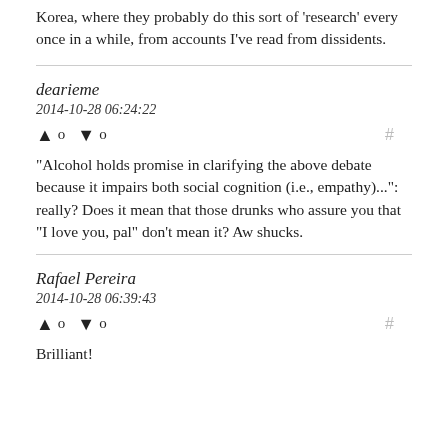Korea, where they probably do this sort of 'research' every once in a while, from accounts I've read from dissidents.
dearieme
2014-10-28 06:24:22
▲ 0 ▼ 0
"Alcohol holds promise in clarifying the above debate because it impairs both social cognition (i.e., empathy)...": really? Does it mean that those drunks who assure you that "I love you, pal" don't mean it? Aw shucks.
Rafael Pereira
2014-10-28 06:39:43
▲ 0 ▼ 0
Brilliant!